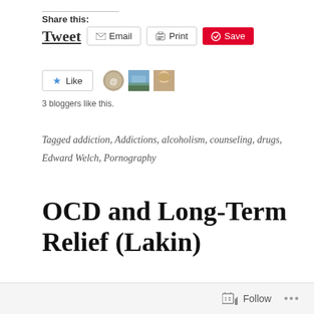Share this:
Tweet  Email  Print  Save
3 bloggers like this.
Tagged addiction, Addictions, alcoholism, counseling, drugs, Edward Welch, Pornography
OCD and Long-Term Relief (Lakin)
January 5, 2021
Follow  ...